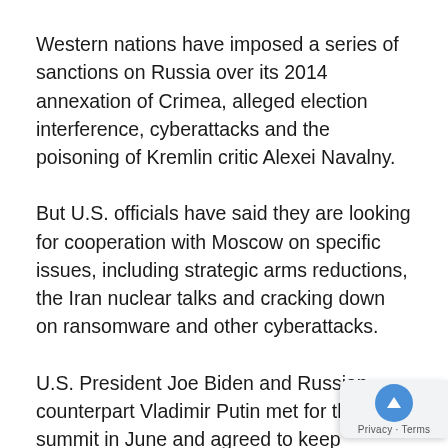Western nations have imposed a series of sanctions on Russia over its 2014 annexation of Crimea, alleged election interference, cyberattacks and the poisoning of Kremlin critic Alexei Navalny.
But U.S. officials have said they are looking for cooperation with Moscow on specific issues, including strategic arms reductions, the Iran nuclear talks and cracking down on ransomware and other cyberattacks.
U.S. President Joe Biden and Russian counterpart Vladimir Putin met for their first summit in June and agreed to keep communications channels open.
Russia's Ambassador to the United States Anatoly Ant... an address Tuesday described that summit as “fruitful...